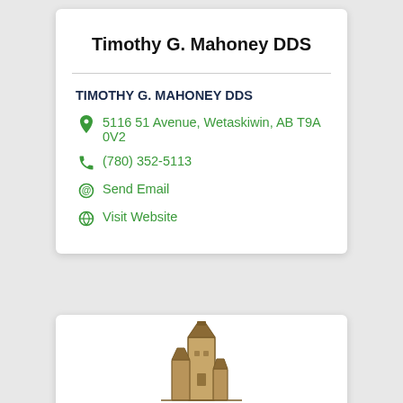Timothy G. Mahoney DDS
TIMOTHY G. MAHONEY DDS
5116 51 Avenue, Wetaskiwin, AB T9A 0V2
(780) 352-5113
Send Email
Visit Website
[Figure (illustration): Partial illustration of a grain elevator or tower building in brown/tan colors, visible at the bottom of the page in a second card.]